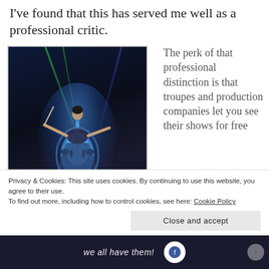I've found that this has served me well as a professional critic.
[Figure (photo): A performer on stage holding a cello-shaped prop and a bow, arms outstretched, illuminated by blue stage lighting with green laser beams, standing on a raised platform in a dark theatrical setting.]
The perk of that professional distinction is that troupes and production companies let you see their shows for free
Privacy & Cookies: This site uses cookies. By continuing to use this website, you agree to their use.
To find out more, including how to control cookies, see here: Cookie Policy
Close and accept
we all have them!